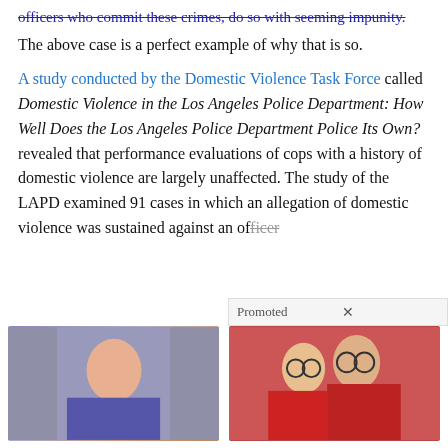officers who commit these crimes, do so with seeming impunity. The above case is a perfect example of why that is so.
A study conducted by the Domestic Violence Task Force called Domestic Violence in the Los Angeles Police Department: How Well Does the Los Angeles Police Department Police Its Own? revealed that performance evaluations of cops with a history of domestic violence are largely unaffected. The study of the LAPD examined 91 cases in which an allegation of domestic violence was sustained against an officer
[Figure (photo): Promoted advertisement showing two photo tiles: left tile shows a woman with red hair (Jen Psaki) in front of a White House backdrop; right tile shows two women in red clothing with large glasses (strange family photo).]
Most People Don't Know These Facts About Jen Psaki (#2 Is Shocking!)
26,980
These Strange Family Photos Will Make You Cringe!
23,812